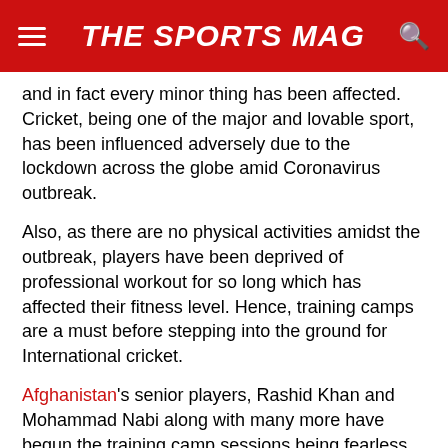THE SPORTS MAG
and in fact every minor thing has been affected. Cricket, being one of the major and lovable sport, has been influenced adversely due to the lockdown across the globe amid Coronavirus outbreak.
Also, as there are no physical activities amidst the outbreak, players have been deprived of professional workout for so long which has affected their fitness level. Hence, training camps are a must before stepping into the ground for International cricket.
Afghanistan's senior players, Rashid Khan and Mohammad Nabi along with many more have begun the training camp sessions being fearless of the Coronavirus as they were deprived of cricket for so long and cricket season seems to be continuing in a shorter span.